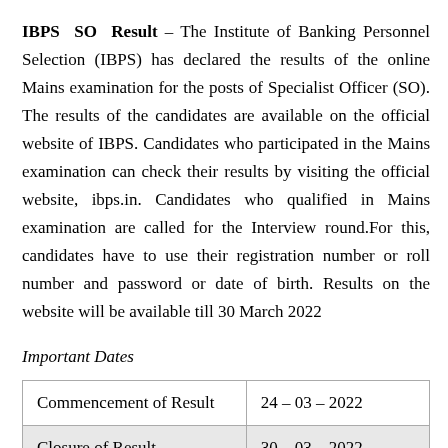IBPS SO Result – The Institute of Banking Personnel Selection (IBPS) has declared the results of the online Mains examination for the posts of Specialist Officer (SO). The results of the candidates are available on the official website of IBPS. Candidates who participated in the Mains examination can check their results by visiting the official website, ibps.in. Candidates who qualified in Mains examination are called for the Interview round.For this, candidates have to use their registration number or roll number and password or date of birth. Results on the website will be available till 30 March 2022
Important Dates
| Commencement of Result | 24 – 03 – 2022 |
| Closure of Result | 30 – 03 – 2022 |